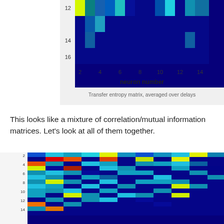[Figure (other): Partial heatmap (transfer entropy matrix) showing rows 12-16 and columns 2-14 with dark blue background and cyan/yellow highlights. X-axis labeled 'neuron number'.]
Transfer entropy matrix, averaged over delays
This looks like a mixture of correlation/mutual information matrices. Let's look at all of them together.
[Figure (other): Two heatmaps side by side showing causal interaction strength matrices (neuron numbers 2-14 on y-axis). Left heatmap shows red/yellow/blue/cyan colormap with values ranging from 0.03 to 0.08. A colorbar on the right labeled 'causal interaction strength' shows scale 0.03-0.08. Right heatmap (partially visible) shows similar structure.]